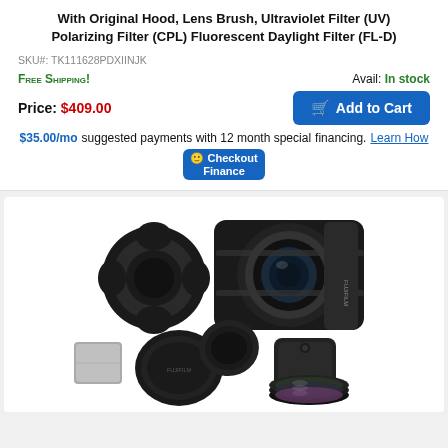With Original Hood, Lens Brush, Ultraviolet Filter (UV) Polarizing Filter (CPL) Fluorescent Daylight Filter (FL-D)
SKU#: TK111628PDXIINJK
FREE SHIPPING!
Avail: In stock
Price: $409.00
Add to Cart
$35.00/mo suggested payments with 12 month special financing. Learn How  Checkout Finance
[Figure (photo): Camera lens kit product photo showing a Fujifilm camera lens with original hood, lens caps, filter set (UV, CPL, FL-D), lens brush, and a gray cleaning cloth arranged together on a white background.]